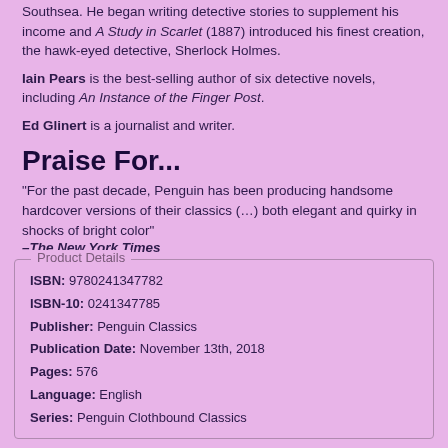Southsea. He began writing detective stories to supplement his income and A Study in Scarlet (1887) introduced his finest creation, the hawk-eyed detective, Sherlock Holmes.
Iain Pears is the best-selling author of six detective novels, including An Instance of the Finger Post.
Ed Glinert is a journalist and writer.
Praise For...
“For the past decade, Penguin has been producing handsome hardcover versions of their classics (…) both elegant and quirky in shocks of bright color”
–The New York Times
| Field | Value |
| --- | --- |
| ISBN: | 9780241347782 |
| ISBN-10: | 0241347785 |
| Publisher: | Penguin Classics |
| Publication Date: | November 13th, 2018 |
| Pages: | 576 |
| Language: | English |
| Series: | Penguin Clothbound Classics |